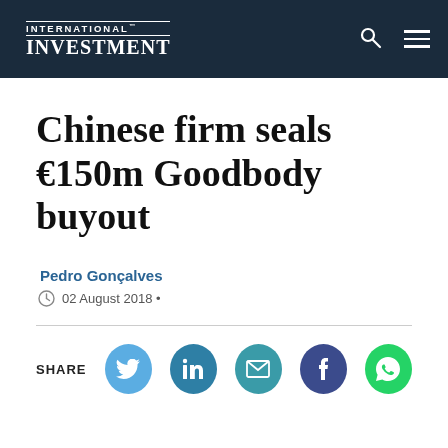INTERNATIONAL INVESTMENT
Chinese firm seals €150m Goodbody buyout
Pedro Gonçalves
02 August 2018
[Figure (infographic): Social share buttons: Twitter, LinkedIn, Email, Facebook, WhatsApp]